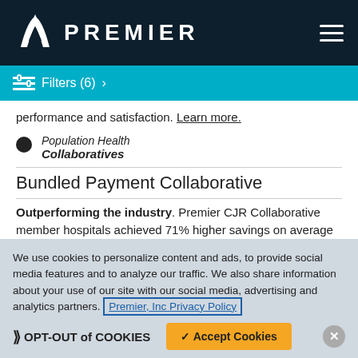PREMIER
Filters (6) >
performance and satisfaction. Learn more.
Population Health
Collaboratives
Bundled Payment Collaborative
Outperforming the industry. Premier CJR Collaborative member hospitals achieved 71% higher savings on average over other
We use cookies to personalize content and ads, to provide social media features and to analyze our traffic. We also share information about your use of our site with our social media, advertising and analytics partners. Premier, Inc Privacy Policy
OPT-OUT of COOKIES | Accept Cookies